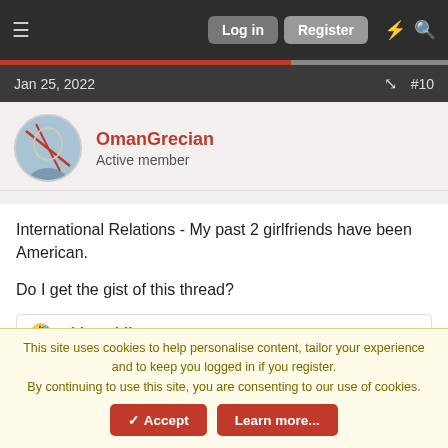Log in  Register
Jan 25, 2022  #10
OmanGrecian
Active member
International Relations - My past 2 girlfriends have been American.

Do I get the gist of this thread?
Oldsmobile-88
1 of 216  Next  ▶▶
This site uses cookies to help personalise content, tailor your experience and to keep you logged in if you register.
By continuing to use this site, you are consenting to our use of cookies.
✓ Accept  Learn more...